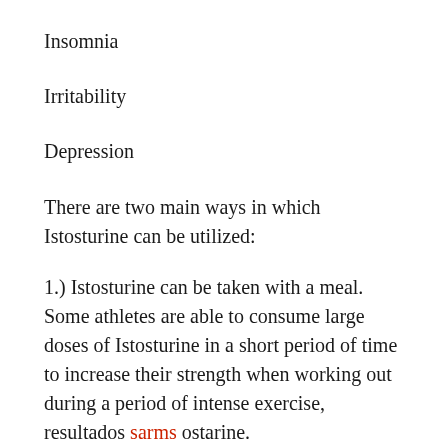Insomnia
Irritability
Depression
There are two main ways in which Istosturine can be utilized:
1.) Istosturine can be taken with a meal. Some athletes are able to consume large doses of Istosturine in a short period of time to increase their strength when working out during a period of intense exercise, resultados sarms ostarine.